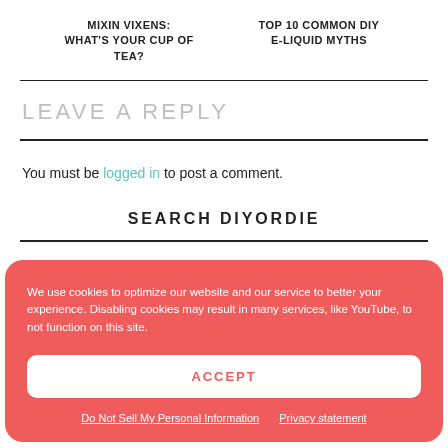MIXIN VIXENS: WHAT'S YOUR CUP OF TEA? | TOP 10 COMMON DIY E-LIQUID MYTHS
LEAVE A REPLY
You must be logged in to post a comment.
SEARCH DIYORDIE
We use cookies to optimize our website and our service to better your experience. Disabling cookies may result in many services, like YouTube, to not function on this site.
ACCEPT
Do Not Sell My Personal Information | Privacy statement